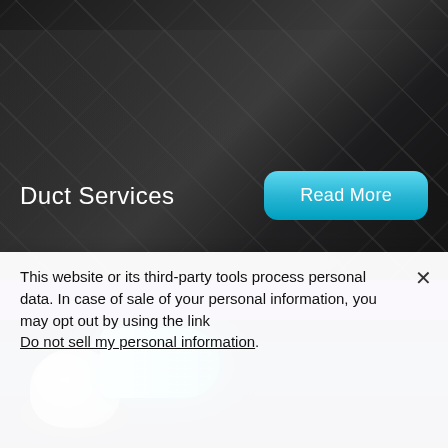[Figure (photo): Duct Services section with dark metal duct ceiling background, white text 'Duct Services' on the left, and a cyan/blue rounded 'Read More' button on the right]
[Figure (photo): UV light device (cylindrical lamp with grid pattern emitting cyan/teal light) on a dark navy blue background]
This website or its third-party tools process personal data. In case of sale of your personal information, you may opt out by using the link Do not sell my personal information.